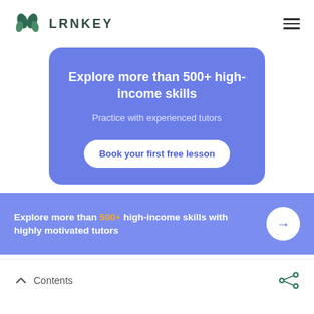LRNKEY
Explore more than 500+ high-income skills
Practice with experienced tutors
Book your first free lesson
Explore more than 500+ high-income skills with highly motivated tutors
Contents